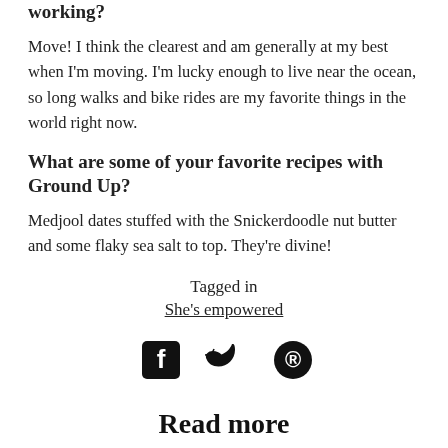working?
Move! I think the clearest and am generally at my best when I'm moving. I'm lucky enough to live near the ocean, so long walks and bike rides are my favorite things in the world right now.
What are some of your favorite recipes with Ground Up?
Medjool dates stuffed with the Snickerdoodle nut butter and some flaky sea salt to top. They're divine!
Tagged in
She's empowered
[Figure (infographic): Social share icons: Facebook, Twitter, Pinterest]
Read more